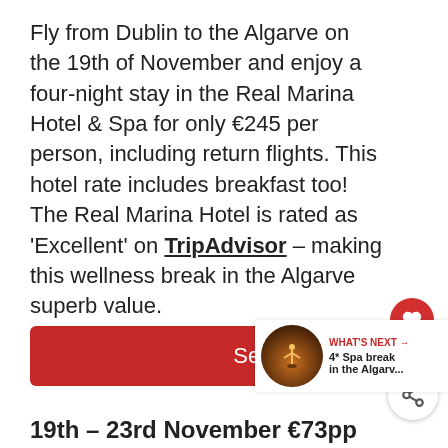Fly from Dublin to the Algarve on the 19th of November and enjoy a four-night stay in the Real Marina Hotel & Spa for only €245 per person, including return flights. This hotel rate includes breakfast too! The Real Marina Hotel is rated as 'Excellent' on TripAdvisor – making this wellness break in the Algarve superb value.
[Figure (other): Red circular heart/like button]
1
[Figure (other): Share button icon (circle with share symbol)]
Search flights here
[Figure (other): What's Next panel with thumbnail image of person in yoga pose at sunset and text: WHAT'S NEXT → 4* Spa break in the Algarv...]
19th – 23rd November €73pp